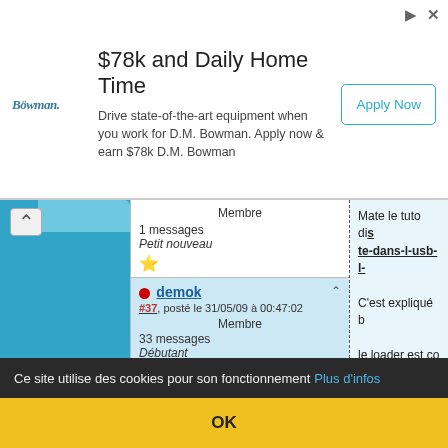[Figure (other): Advertisement banner: $78k and Daily Home Time - D.M. Bowman trucking job ad with Apply Now button]
Membre
1 messages
Petit nouveau
⭐
demok #37, posté le 31/05/09 à 00:47:02
Membre
33 messages
Débutant
⭐
guifreezebigest #38, posté le 31/05/09 à 22:42:00
Membre
2 messages
Petit nouveau
Mate le tuto di...
te-dans-l-usb-l-

C'est expliqué b...

le loader est co...
bonsoir a tous ...
ur avec la rev 4...
comprends pas...
Ce site utilise des cookies pour son fonctionnement Plus d'infos
OK